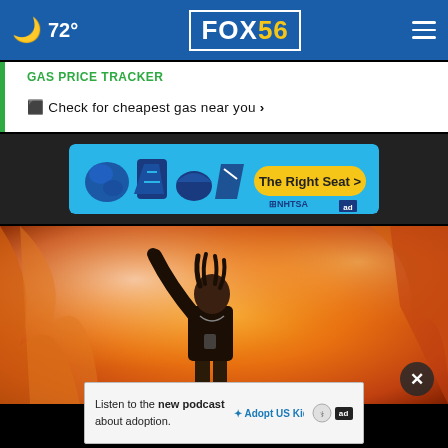🌙 72° FOX56
GAS PRICE TRACKER
⬛ Check for cheapest gas near you ›
[Figure (other): NHTSA car seat safety advertisement banner: 'The Right Seat >' with child seat icons on blue background]
[Figure (photo): Performer on stage with orange/red dramatic lighting, raising arm with microphone, wearing dark jacket]
[Figure (other): Bottom advertisement: 'Listen to the new podcast about adoption.' with Adopt US Kids logo and ad badge]